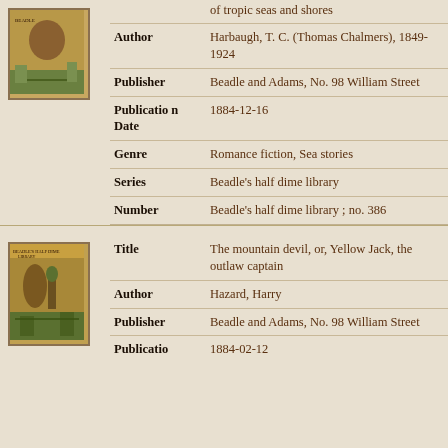[Figure (illustration): Book cover thumbnail for a Beadle dime novel, tropical scene]
| Field | Value |
| --- | --- |
| Author | Harbaugh, T. C. (Thomas Chalmers), 1849-1924 |
| Publisher | Beadle and Adams, No. 98 William Street |
| Publication Date | 1884-12-16 |
| Genre | Romance fiction, Sea stories |
| Series | Beadle's half dime library |
| Number | Beadle's half dime library ; no. 386 |
[Figure (illustration): Book cover thumbnail for Beadle half dime library, mountain/western scene]
| Field | Value |
| --- | --- |
| Title | The mountain devil, or, Yellow Jack, the outlaw captain |
| Author | Hazard, Harry |
| Publisher | Beadle and Adams, No. 98 William Street |
| Publication Date | 1884-02-12 |